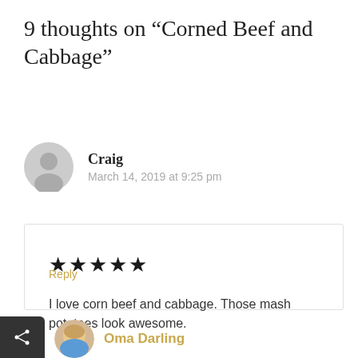9 thoughts on “Corned Beef and Cabbage”
Craig
March 14, 2019 at 9:25 pm
★★★★★
I love corn beef and cabbage. Those mash potatoes look awesome.
Reply
Oma Darling